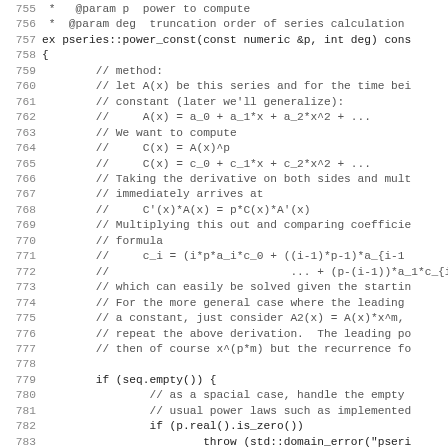[Figure (screenshot): Source code listing (C++) lines 755-787, showing a power series computation method with comments explaining the algorithm and code for handling empty sequences and power laws.]